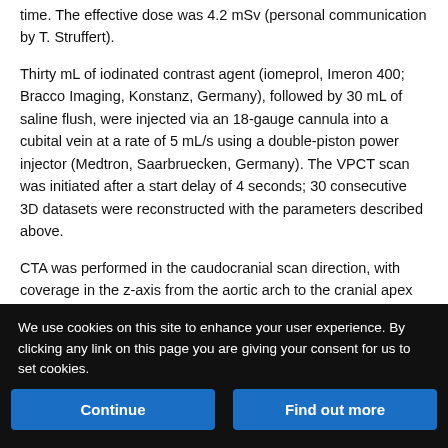time. The effective dose was 4.2 mSv (personal communication by T. Struffert).
Thirty mL of iodinated contrast agent (iomeprol, Imeron 400; Bracco Imaging, Konstanz, Germany), followed by 30 mL of saline flush, were injected via an 18-gauge cannula into a cubital vein at a rate of 5 mL/s using a double-piston power injector (Medtron, Saarbruecken, Germany). The VPCT scan was initiated after a start delay of 4 seconds; 30 consecutive 3D datasets were reconstructed with the parameters described above.
CTA was performed in the caudocranial scan direction, with coverage in the z-axis from the aortic arch to the cranial apex (tube voltage: 120 kV; quality reference tube current-time product: 160...
We use cookies on this site to enhance your user experience. By clicking any link on this page you are giving your consent for us to set cookies.